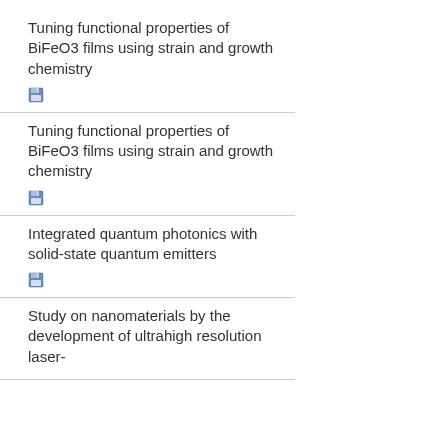Tuning functional properties of BiFeO3 films using strain and growth chemistry
Tuning functional properties of BiFeO3 films using strain and growth chemistry
Integrated quantum photonics with solid-state quantum emitters
Study on nanomaterials by the development of ultrahigh resolution laser-